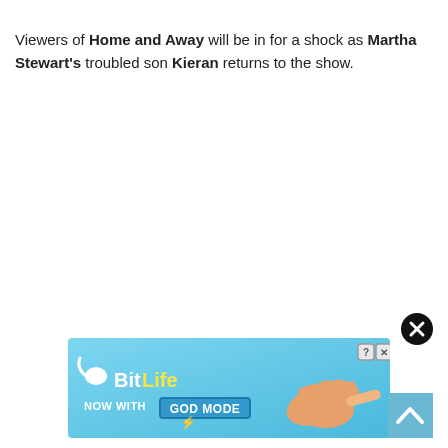Viewers of Home and Away will be in for a shock as Martha Stewart's troubled son Kieran returns to the show.
[Figure (screenshot): BitLife advertisement banner with light blue background, showing BitLife logo with sperm icon, text 'NOW WITH GOD MODE' with a yellow lightning bolt, and a cartoon pointing hand on the right. Has a question mark and X close buttons in top right corner.]
[Figure (other): Black circular close button with white X, for dismissing the advertisement.]
[Figure (other): Light blue scroll-to-top button with white upward arrow chevron.]